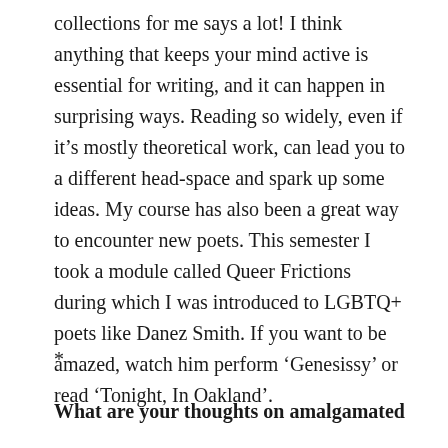collections for me says a lot! I think anything that keeps your mind active is essential for writing, and it can happen in surprising ways. Reading so widely, even if it's mostly theoretical work, can lead you to a different head-space and spark up some ideas. My course has also been a great way to encounter new poets. This semester I took a module called Queer Frictions during which I was introduced to LGBTQ+ poets like Danez Smith. If you want to be amazed, watch him perform 'Genesissy' or read 'Tonight, In Oakland'.
*
What are your thoughts on amalgamated